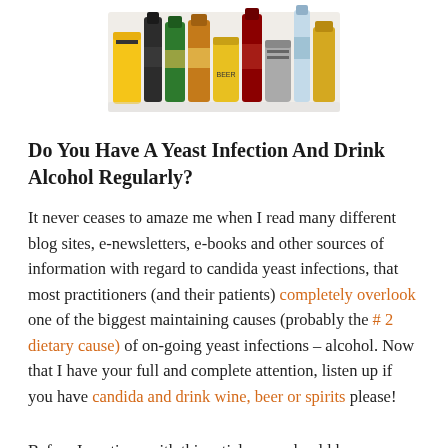[Figure (photo): A collection of various alcohol bottles and cans including beer cans, wine bottles, and spirits arranged together on a white background.]
Do You Have A Yeast Infection And Drink Alcohol Regularly?
It never ceases to amaze me when I read many different blog sites, e-newsletters, e-books and other sources of information with regard to candida yeast infections, that most practitioners (and their patients) completely overlook one of the biggest maintaining causes (probably the # 2 dietary cause) of on-going yeast infections – alcohol. Now that I have your full and complete attention, listen up if you have candida and drink wine, beer or spirits please!
Before I continue with this article, you should know